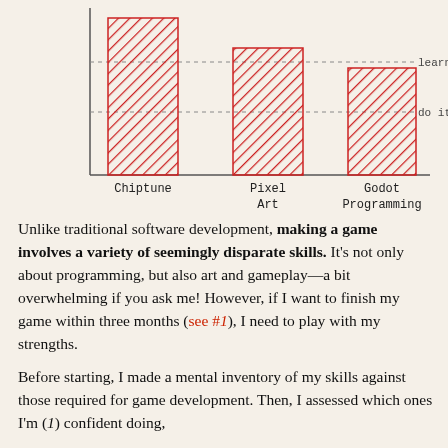[Figure (bar-chart): Complexity × time]
Unlike traditional software development, making a game involves a variety of seemingly disparate skills. It's not only about programming, but also art and gameplay—a bit overwhelming if you ask me! However, if I want to finish my game within three months (see #1), I need to play with my strengths.
Before starting, I made a mental inventory of my skills against those required for game development. Then, I assessed which ones I'm (1) confident doing,